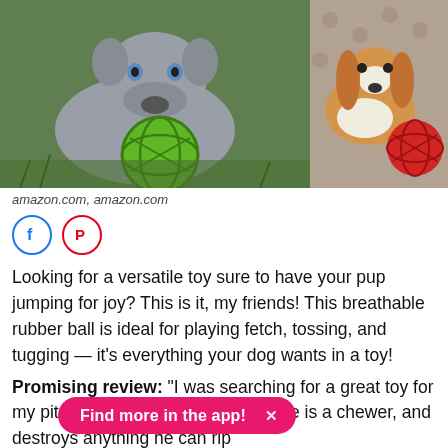[Figure (photo): Two dogs with rubber lattice balls. Left: grey pit bull puppy lying on grass with green lattice ball. Right: brown and white spaniel on patterned couch with red lattice ball.]
amazon.com, amazon.com
[Figure (other): Facebook and Pinterest social share icon buttons]
Looking for a versatile toy sure to have your pup jumping for joy? This is it, my friends! This breathable rubber ball is ideal for playing fetch, tossing, and tugging — it's everything your dog wants in a toy!
Promising review: "I was searching for a great toy for my pit bull (8... on this toy. He is a chewer, and destroys anything he can rip
Find more in the app!  X